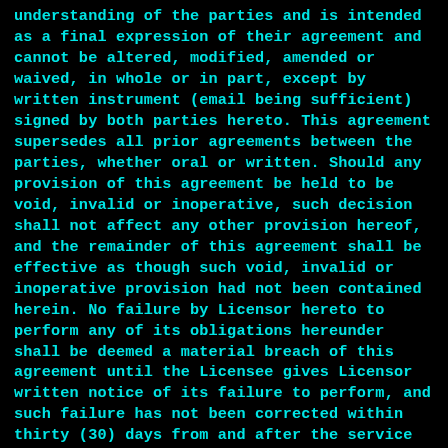understanding of the parties and is intended as a final expression of their agreement and cannot be altered, modified, amended or waived, in whole or in part, except by written instrument (email being sufficient) signed by both parties hereto. This agreement supersedes all prior agreements between the parties, whether oral or written. Should any provision of this agreement be held to be void, invalid or inoperative, such decision shall not affect any other provision hereof, and the remainder of this agreement shall be effective as though such void, invalid or inoperative provision had not been contained herein. No failure by Licensor hereto to perform any of its obligations hereunder shall be deemed a material breach of this agreement until the Licensee gives Licensor written notice of its failure to perform, and such failure has not been corrected within thirty (30) days from and after the service of such notice, or, if such breach is not reasonably capable of being cured within such thirty (30) day period, Licensor does not commence to cure such breach within